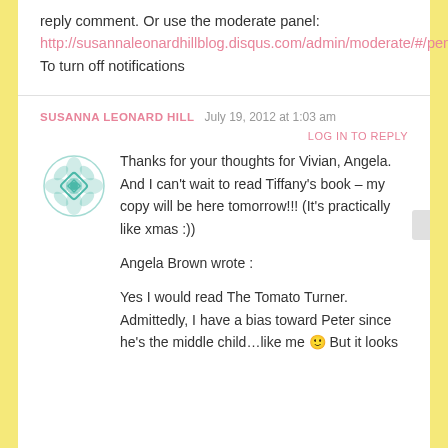reply comment. Or use the moderate panel: http://susannaleonardhillblog.disqus.com/admin/moderate/#/pending To turn off notifications
SUSANNA LEONARD HILL   July 19, 2012 at 1:03 am
LOG IN TO REPLY
[Figure (logo): Teal/green ornamental floral mandala avatar icon]
Thanks for your thoughts for Vivian, Angela. And I can't wait to read Tiffany's book – my copy will be here tomorrow!!! (It's practically like xmas :))

Angela Brown wrote :

Yes I would read The Tomato Turner. Admittedly, I have a bias toward Peter since he's the middle child…like me 🙂 But it looks